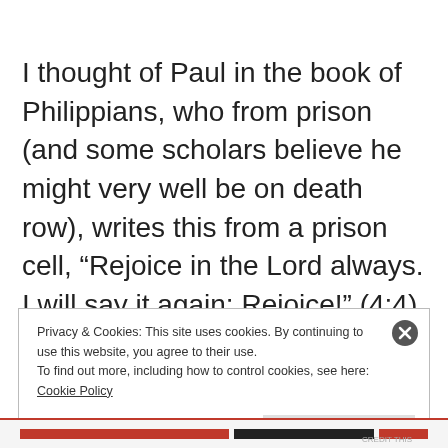I thought of Paul in the book of Philippians, who from prison (and some scholars believe he might very well be on death row), writes this from a prison cell, “Rejoice in the Lord always. I will say it again: Rejoice!” (4:4)
Privacy & Cookies: This site uses cookies. By continuing to use this website, you agree to their use.
To find out more, including how to control cookies, see here: Cookie Policy
Close and accept